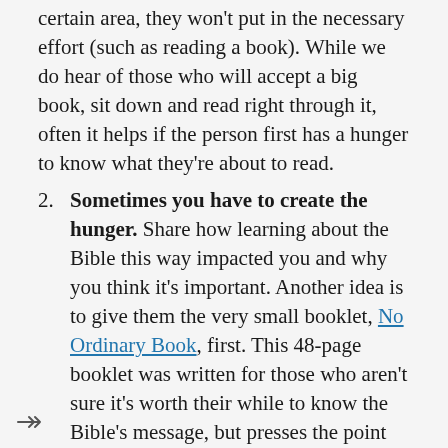see a need to grow their knowledge in a certain area, they won't put in the necessary effort (such as reading a book). While we do hear of those who will accept a big book, sit down and read right through it, often it helps if the person first has a hunger to know what they're about to read.
2. Sometimes you have to create the hunger. Share how learning about the Bible this way impacted you and why you think it's important. Another idea is to give them the very small booklet, No Ordinary Book, first. This 48-page booklet was written for those who aren't sure it's worth their while to know the Bible's message, but presses the point that the Bible is unique in many ways and worth studying. It's meant to "whet the